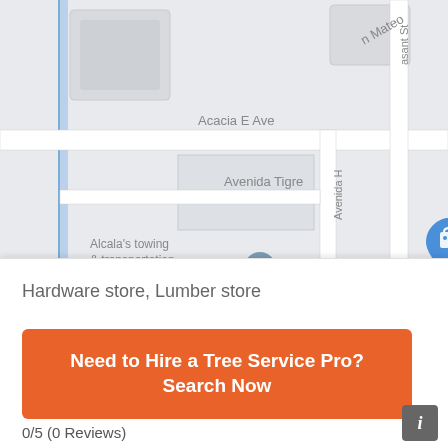[Figure (map): Street map showing BeeSmart Bee Removal location pin (blue), with streets labeled Acacia E Ave, Avenida Tigre, Avenida H, Alto Dr, Dumo, and businesses Alcala's towing & transportation. Map has light gray background with white road lines.]
Hardware store, Lumber store
Need to Hire a Tree Service Pro? Search Now
0/5 (0 Reviews)